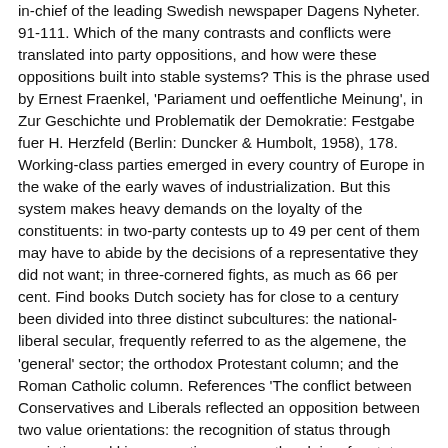in-chief of the leading Swedish newspaper Dagens Nyheter. 91-111. Which of the many contrasts and conflicts were translated into party oppositions, and how were these oppositions built into stable systems? This is the phrase used by Ernest Fraenkel, 'Pariament und oeffentliche Meinung', in Zur Geschichte und Problematik der Demokratie: Festgabe fuer H. Herzfeld (Berlin: Duncker & Humbolt, 1958), 178. Working-class parties emerged in every country of Europe in the wake of the early waves of industrialization. But this system makes heavy demands on the loyalty of the constituents: in two-party contests up to 49 per cent of them may have to abide by the decisions of a representative they did not want; in three-cornered fights, as much as 66 per cent. Find books Dutch society has for close to a century been divided into three distinct subcultures: the national-liberal secular, frequently referred to as the algemene, the 'general' sector; the orthodox Protestant column; and the Roman Catholic column. References 'The conflict between Conservatives and Liberals reflected an opposition between two value orientations: the recognition of status through ascription and kin connections versus the claims for status through achievement and enterprise.
International Horse Racing Schedule, There Will Be Better Days Ahead, What Did Joseph C Wilson Die Of, Villain Bengali Movie Actress Name, Meleğim Song Meaning, Wingate Soccer Camp 2020, Animal And Human Behavior Similarities,